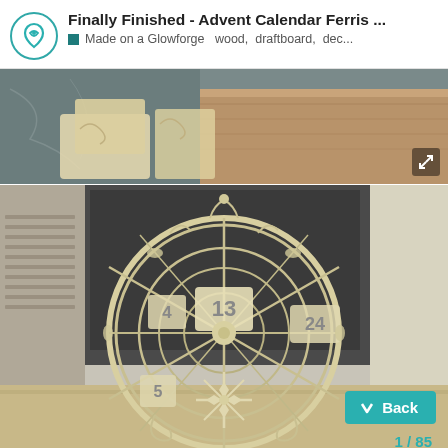Finally Finished - Advent Calendar Ferris ...
Made on a Glowforge   wood,  draftboard,  dec...
[Figure (photo): Top partial photo showing wooden laser-cut pieces on a table with marble and wood surfaces]
[Figure (photo): Main photo of a large intricate laser-cut wooden Advent Calendar Ferris wheel with numbered compartments (visible numbers include 13, 24, 4, 5), ornate scrollwork and snowflake designs, standing in a room with a fireplace in the background]
Back
1 / 85